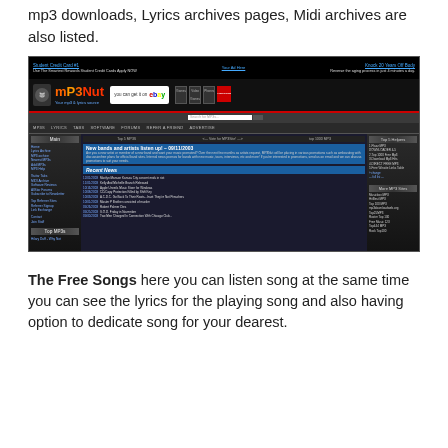mp3 downloads, Lyrics archives pages, Midi archives are also listed.
[Figure (screenshot): Screenshot of MP3Nut website showing logo, navigation, announcement about new bands and artists (09/11/2003), recent news items, and top MP3s sidebar sections.]
The Free Songs here you can listen song at the same time you can see the lyrics for the playing song and also having option to dedicate song for your dearest.